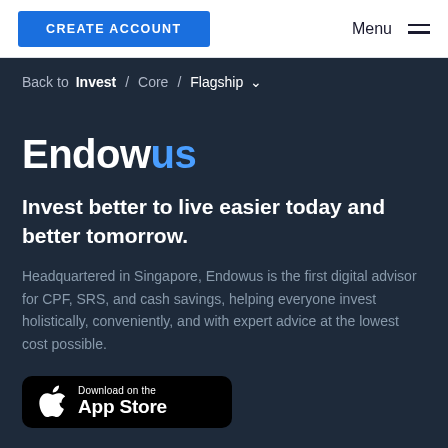CREATE ACCOUNT   Menu
Back to Invest / Core / Flagship
Endowus
Invest better to live easier today and better tomorrow.
Headquartered in Singapore, Endowus is the first digital advisor for CPF, SRS, and cash savings, helping everyone invest holistically, conveniently, and with expert advice at the lowest cost possible.
[Figure (other): Download on the App Store button with Apple logo]